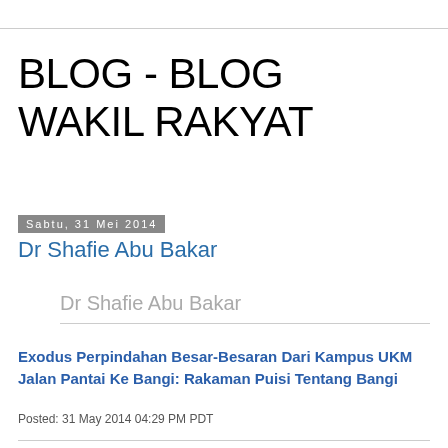BLOG - BLOG WAKIL RAKYAT
Sabtu, 31 Mei 2014
Dr Shafie Abu Bakar
Dr Shafie Abu Bakar
Exodus Perpindahan Besar-Besaran Dari Kampus UKM Jalan Pantai Ke Bangi: Rakaman Puisi Tentang Bangi
Posted: 31 May 2014 04:29 PM PDT